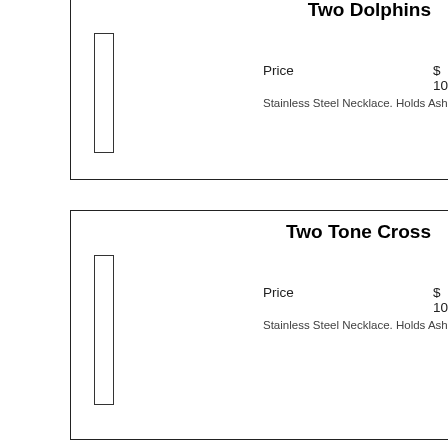Two Dolphins
Price    $ 109.00
Stainless Steel Necklace. Holds Ashes.
Two Tone Cross
Price    $ 109.00
Stainless Steel Necklace. Holds Ashes.
United Hearts